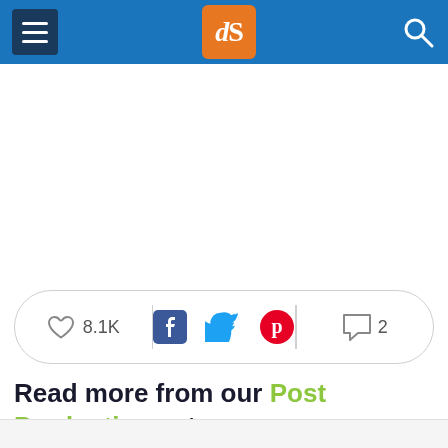dPS (Digital Photography School) website header with hamburger menu, dPS logo, and search icon
[Figure (screenshot): Social sharing bar with heart/like count 8.1K, Facebook, Twitter, Pinterest icons, and comment count 2]
Read more from our Post Production category